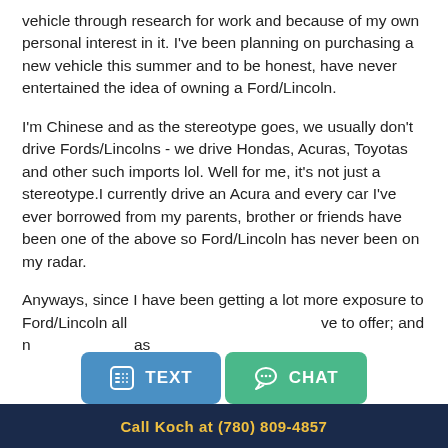vehicle through research for work and because of my own personal interest in it. I've been planning on purchasing a new vehicle this summer and to be honest, have never entertained the idea of owning a Ford/Lincoln.
I'm Chinese and as the stereotype goes, we usually don't drive Fords/Lincolns - we drive Hondas, Acuras, Toyotas and other such imports lol. Well for me, it's not just a stereotype.I currently drive an Acura and every car I've ever borrowed from my parents, brother or friends have been one of the above so Ford/Lincoln has never been on my radar.
Anyways, since I have been getting a lot more exposure to Ford/Lincoln all ve to offer; and no as
[Figure (other): Two UI buttons: TEXT button (blue) and CHAT button (green) overlaying the text]
Call Koch at (780) 809-4857